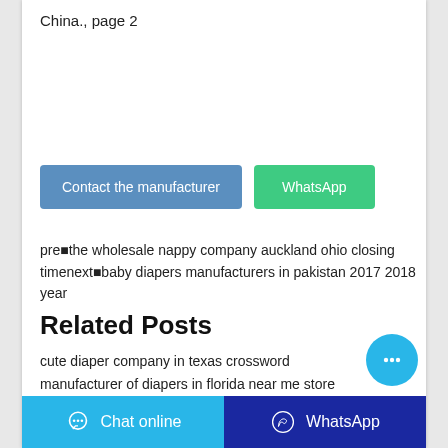China., page 2
Contact the manufacturer | WhatsApp
pre◠the wholesale nappy company auckland ohio closing timenext◠baby diapers manufacturers in pakistan 2017 2018 year
Related Posts
cute diaper company in texas crossword
manufacturer of diapers in florida near me store
teddy diapers wholesale price philippines online stor
diaper wholesalers near me online ordering list
comfrey diapers distributors in pakistan 2019 today youtube
Chat online | WhatsApp